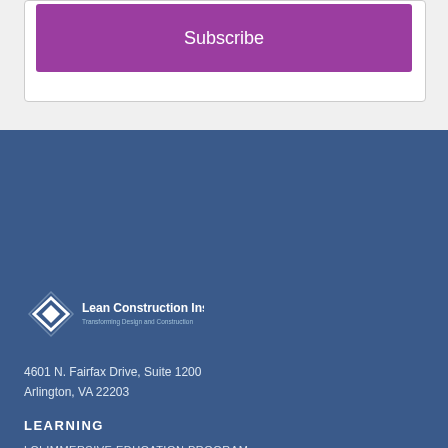[Figure (other): Subscribe button — purple/magenta rounded rectangle with white 'Subscribe' text]
[Figure (logo): Lean Construction Institute logo — white geometric diamond shape with 'Lean Construction Institute / Transforming Design and Construction' text]
4601 N. Fairfax Drive, Suite 1200
Arlington, VA 22203
LEARNING
LCI IMMERSIVE EDUCATION PROGRAM
LCI PUBLICATIONS AND BOOKS
LEAN RESEARCH
GETTING STARTED WITH LEAN